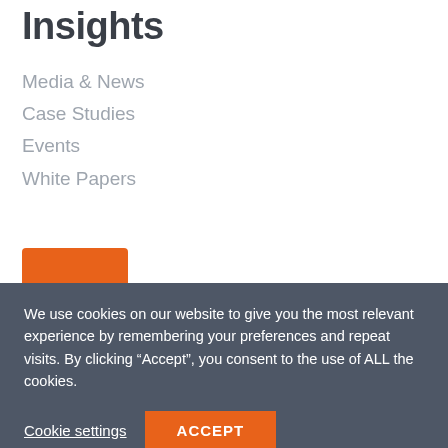Insights
Media & News
Case Studies
Events
White Papers
[Figure (logo): SecureCloud+ logo: orange square with white cloud and plus icon]
SecureCloud+
Head Office: +44(0)330 133 3633
We use cookies on our website to give you the most relevant experience by remembering your preferences and repeat visits. By clicking “Accept”, you consent to the use of ALL the cookies.
Cookie settings   ACCEPT